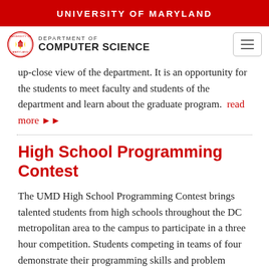UNIVERSITY OF MARYLAND
[Figure (logo): University of Maryland Department of Computer Science logo with circular UMD seal and text]
up-close view of the department. It is an opportunity for the students to meet faculty and students of the department and learn about the graduate program. read more
High School Programming Contest
The UMD High School Programming Contest brings talented students from high schools throughout the DC metropolitan area to the campus to participate in a three hour competition. Students competing in teams of four demonstrate their programming skills and problem solving abilities by attempting to solve eight